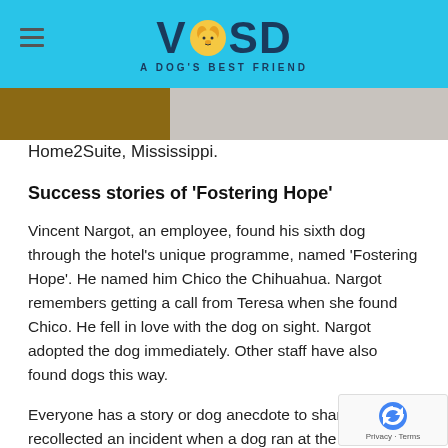VOSD A DOG'S BEST FRIEND
[Figure (photo): Top portion of a photo showing a dog in what appears to be a hotel room setting]
Home2Suite, Mississippi.
Success stories of 'Fostering Hope'
Vincent Nargot, an employee, found his sixth dog through the hotel's unique programme, named 'Fostering Hope'. He named him Chico the Chihuahua. Nargot remembers getting a call from Teresa when she found Chico. He fell in love with the dog on sight. Nargot adopted the dog immediately. Other staff have also found dogs this way.
Everyone has a story or dog anecdote to share. Nargot recollected an incident when a dog ran at the sound of men and would only answer to a female voice.
The hotel has learnt a lot too.